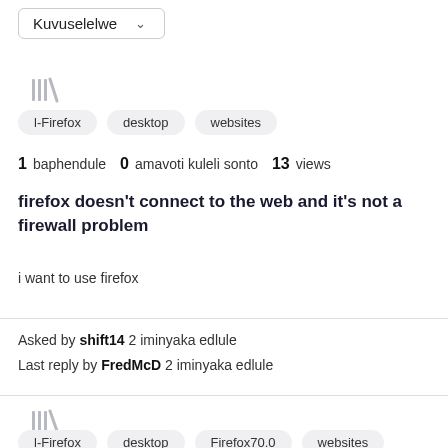Kuvuselelwe (dropdown)
[Figure (other): Library/collection icon made of vertical bars]
l-Firefox
desktop
websites
1 baphendule  0 amavoti kuleli sonto  13 views
firefox doesn't connect to the web and it's not a firewall problem
i want to use firefox
Asked by shift14 2 iminyaka edlule
Last reply by FredMcD 2 iminyaka edlule
[Figure (other): Library/collection icon made of vertical bars]
l-Firefox  desktop  Firefox70.0  websites (partially visible)